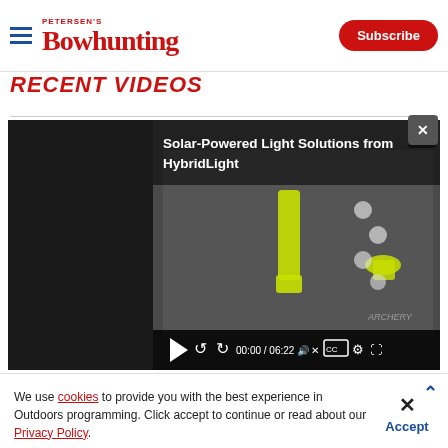Petersen's Bowhunting | Subscribe
Recent Videos
[Figure (screenshot): Video player showing 'Solar-Powered Light Solutions from HybridLight' video thumbnail. Video controls show 00:00 / 06:22 timecode. Two people holding yellow flashlights/torches product.]
We use cookies to provide you with the best experience in Outdoors programming. Click accept to continue or read about our Privacy Policy.
[Figure (photo): Federal American Eagle advertisement banner. Text reads 'MADE RIGHT HERE' with 'RIGHT' in red, and 'BUY NOW' on right side. Dark blue background with stars pattern.]